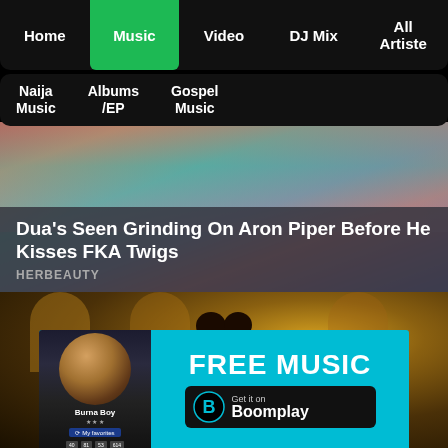Home | Music | Video | DJ Mix | All Artiste
Naija Music | Albums /EP | Gospel Music
[Figure (photo): Hero image showing a person in a teal/blue outfit, partially visible, with text overlay about Dua Lipa and Aron Piper]
Dua's Seen Grinding On Aron Piper Before He Kisses FKA Twigs
HERBEAUTY
[Figure (photo): Video thumbnail showing a man with wide eyes and afro hair puffs in an ornate golden interior setting]
[Figure (infographic): Boomplay advertisement banner: FREE MUSIC - Get it on Boomplay, featuring Burna Boy album art thumbnail]